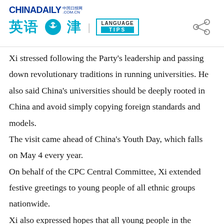CHINADAILY .COM.CN 英语点津 | LANGUAGE TIPS
Xi stressed following the Party's leadership and passing down revolutionary traditions in running universities. He also said China's universities should be deeply rooted in China and avoid simply copying foreign standards and models. The visit came ahead of China's Youth Day, which falls on May 4 every year. On behalf of the CPC Central Committee, Xi extended festive greetings to young people of all ethnic groups nationwide. Xi also expressed hopes that all young people in the country can keep in mind the Party's instructions, strive for national rejuvenation, and work hard for the best results possible.